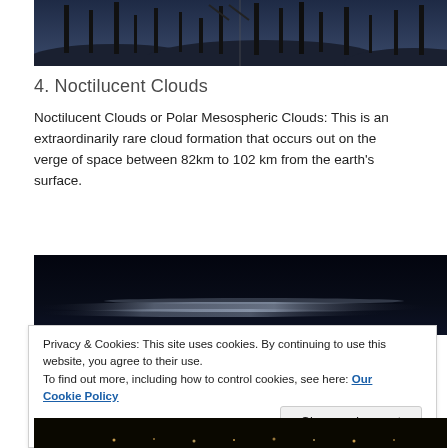[Figure (photo): Industrial skyline at dusk with tall factory chimneys and cranes against a dark blue-grey sky, split-frame photograph]
4. Noctilucent Clouds
Noctilucent Clouds or Polar Mesospheric Clouds: This is an extraordinarily rare cloud formation that occurs out on the verge of space between 82km to 102 km from the earth's surface.
[Figure (photo): Dark night sky photograph showing faint noctilucent cloud formations near the horizon]
Privacy & Cookies: This site uses cookies. By continuing to use this website, you agree to their use.
To find out more, including how to control cookies, see here: Our Cookie Policy
[Figure (photo): Nighttime cityscape photograph at the bottom of the page]